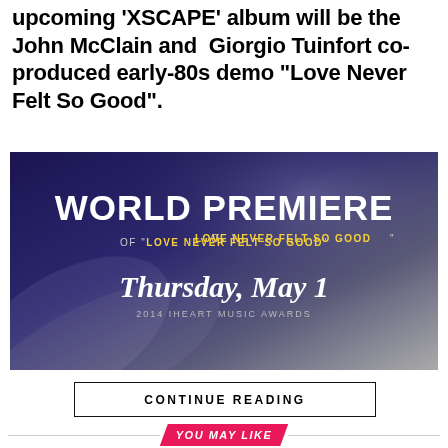upcoming ‘XSCAPE’ album will be the John McClain and Giorgio Tuinfort co-produced early-80s demo “Love Never Felt So Good”.
[Figure (infographic): World Premiere banner for 'Love Never Felt So Good' at 2014 iHeart Music Awards on Thursday, May 1, with dark purple/grey gradient background and yellow accent text.]
CONTINUE READING
YOU MAY LIKE
Michael Jackson Meets America in Invincible Album Outtake ‘A Place With No Name’